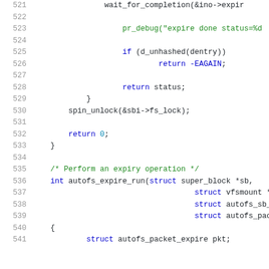Code listing lines 521-541 showing C source code for autofs expire functions